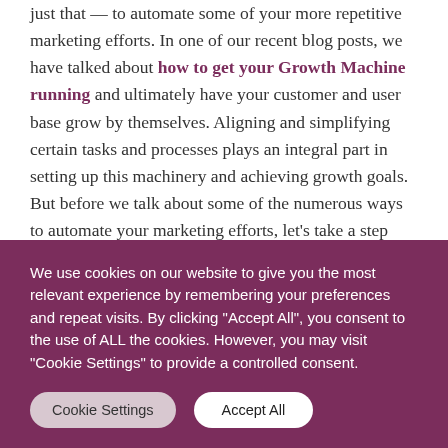just that — to automate some of your more repetitive marketing efforts. In one of our recent blog posts, we have talked about how to get your Growth Machine running and ultimately have your customer and user base grow by themselves. Aligning and simplifying certain tasks and processes plays an integral part in setting up this machinery and achieving growth goals. But before we talk about some of the numerous ways to automate your marketing efforts, let's take a step back and shed some light on the term itself.
We use cookies on our website to give you the most relevant experience by remembering your preferences and repeat visits. By clicking "Accept All", you consent to the use of ALL the cookies. However, you may visit "Cookie Settings" to provide a controlled consent.